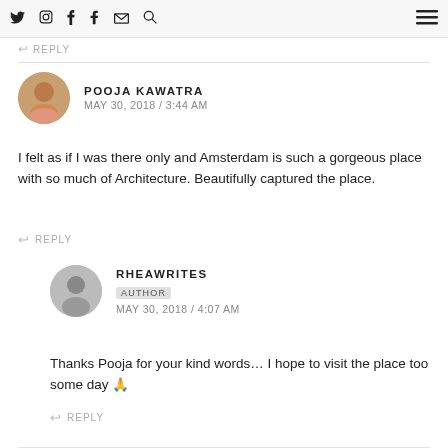Social media icons: Twitter, Instagram, Facebook, Tumblr, Email, Search | Menu
↩ REPLY
POOJA KAWATRA
MAY 30, 2018 / 3:44 AM
I felt as if I was there only and Amsterdam is such a gorgeous place with so much of Architecture. Beautifully captured the place.
↩ REPLY
RHEAWRITES
AUTHOR
MAY 30, 2018 / 4:07 AM
Thanks Pooja for your kind words… I hope to visit the place too some day 🙏
↩ REPLY